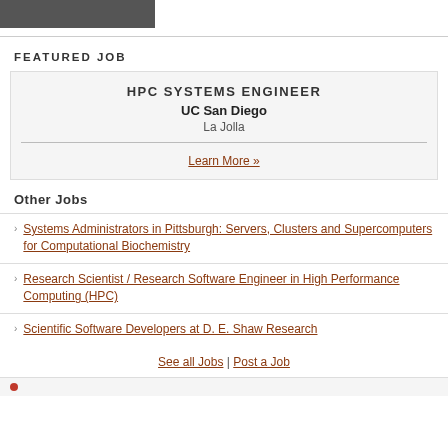[Figure (photo): Partial photo visible at top of page]
FEATURED JOB
HPC SYSTEMS ENGINEER
UC San Diego
La Jolla
Learn More »
Other Jobs
Systems Administrators in Pittsburgh: Servers, Clusters and Supercomputers for Computational Biochemistry
Research Scientist / Research Software Engineer in High Performance Computing (HPC)
Scientific Software Developers at D. E. Shaw Research
See all Jobs | Post a Job